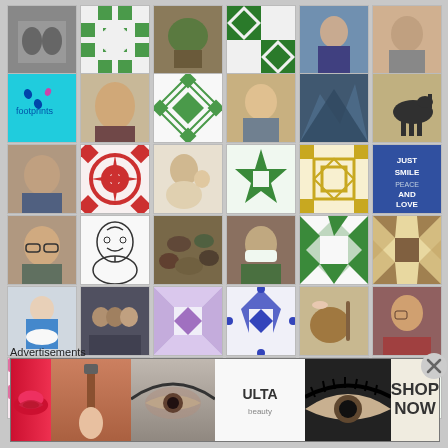[Figure (photo): Grid of thumbnail images including profile photos, quilt patterns, and artwork arranged in 7 rows of 6 columns]
Advertisements
[Figure (photo): ULTA Beauty advertisement banner with makeup imagery and SHOP NOW call to action]
[Figure (other): Close/dismiss button (X circle) on the right side]